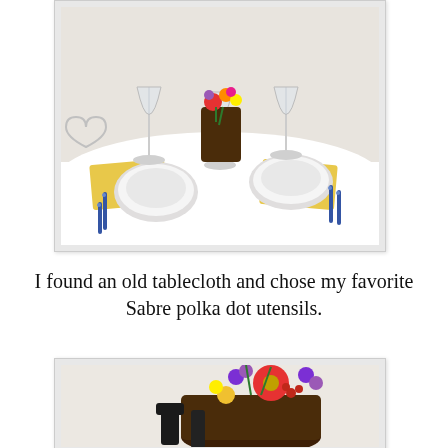[Figure (photo): A table set with a white tablecloth, white plates, wine glasses, yellow napkins, and blue polka dot Sabre utensils. A dark brown vase/container with colorful flowers (red, orange, yellow, purple) serves as a centerpiece.]
I found an old tablecloth and chose my favorite Sabre polka dot utensils.
[Figure (photo): A close-up of a dark brown container/vase with colorful flowers including red gerbera daisies, purple flowers, yellow flowers, and red berries. Black utensil handles are visible in front.]